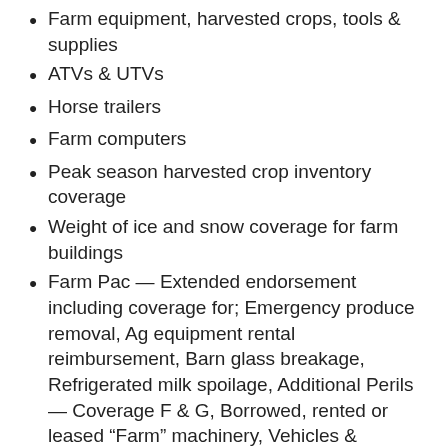Farm equipment, harvested crops, tools & supplies
ATVs & UTVs
Horse trailers
Farm computers
Peak season harvested crop inventory coverage
Weight of ice and snow coverage for farm buildings
Farm Pac — Extended endorsement including coverage for; Emergency produce removal, Ag equipment rental reimbursement, Barn glass breakage, Refrigerated milk spoilage, Additional Perils — Coverage F & G, Borrowed, rented or leased “Farm” machinery, Vehicles & equipment, Loading/unloading of “Livestock” or poultry & Silo unloader collision
Private power & light poles
Property coverage for contaminated milk in your bulk tank
No deductible livestock lightning endorsement
Well Pumps